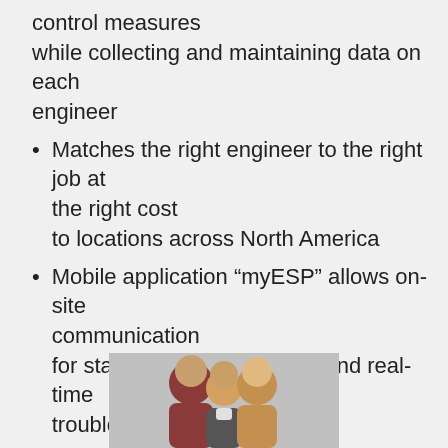control measures while collecting and maintaining data on each engineer
Matches the right engineer to the right job at the right cost to locations across North America
Mobile application “myESP” allows on-site communication for status updates, support, and real-time troubleshooting
[Figure (photo): Two people looking at something together, partially cropped at bottom of page]